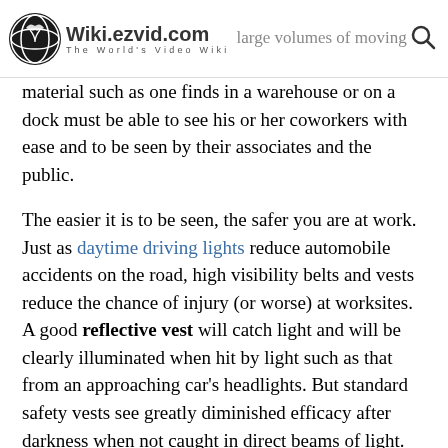Wiki.ezvid.com – The World's Video Wiki
material such as one finds in a warehouse or on a dock must be able to see his or her coworkers with ease and to be seen by their associates and the public.
The easier it is to be seen, the safer you are at work. Just as daytime driving lights reduce automobile accidents on the road, high visibility belts and vests reduce the chance of injury (or worse) at worksites. A good reflective vest will catch light and will be clearly illuminated when hit by light such as that from an approaching car's headlights. But standard safety vests see greatly diminished efficacy after darkness when not caught in direct beams of light. Thus the growing popularity of LED safety vests.